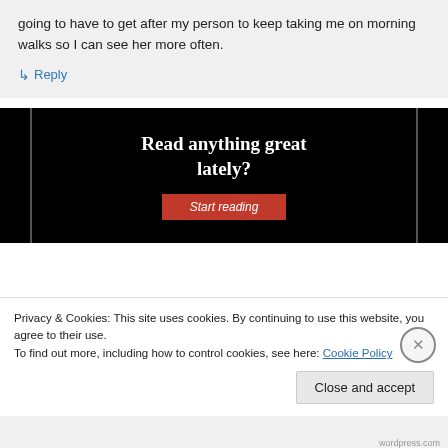going to have to get after my person to keep taking me on morning walks so I can see her more often.
↳ Reply
[Figure (infographic): Black banner advertisement with text 'Read anything great lately?' and a red 'Start reading' button]
Privacy & Cookies: This site uses cookies. By continuing to use this website, you agree to their use.
To find out more, including how to control cookies, see here: Cookie Policy
Close and accept